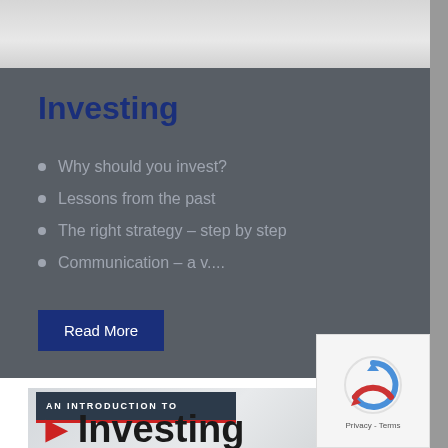[Figure (photo): Blurred light-colored image strip at the top of the page]
Investing
Why should you invest?
Lessons from the past
The right strategy – step by step
Communication – a v....
Read More
[Figure (screenshot): Book cover preview with 'AN INTRODUCTION TO' banner and large 'Investing' title with red arrow icon, on a light grey background]
[Figure (logo): reCAPTCHA badge with spinning arrows logo and Privacy - Terms text]